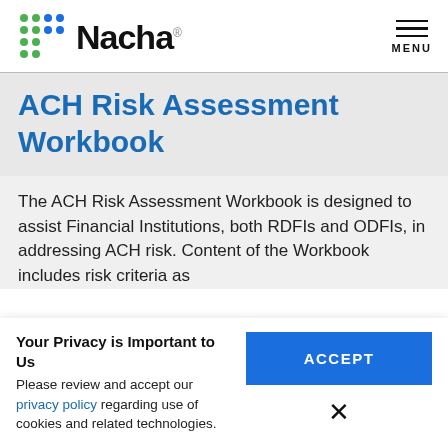[Figure (logo): Nacha logo with colored dot pattern and wordmark]
ACH Risk Assessment Workbook
The ACH Risk Assessment Workbook is designed to assist Financial Institutions, both RDFIs and ODFIs, in addressing ACH risk. Content of the Workbook includes risk criteria as
Your Privacy is Important to Us
Please review and accept our privacy policy regarding use of cookies and related technologies.